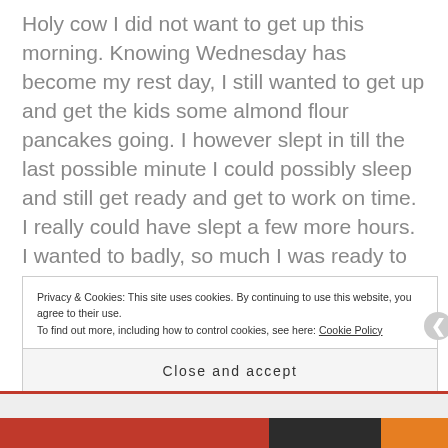Holy cow I did not want to get up this morning. Knowing Wednesday has become my rest day, I still wanted to get up and get the kids some almond flour pancakes going. I however slept in till the last possible minute I could possibly sleep and still get ready and get to work on time. I really could have slept a few more hours. I wanted to badly, so much I was ready to call in sick or something! LOL. I didn't though and I rushed around like a maniac! Fortunately my kids are old enough to fend for themselves and even help their slacker mom out.
Privacy & Cookies: This site uses cookies. By continuing to use this website, you agree to their use.
To find out more, including how to control cookies, see here: Cookie Policy
Close and accept